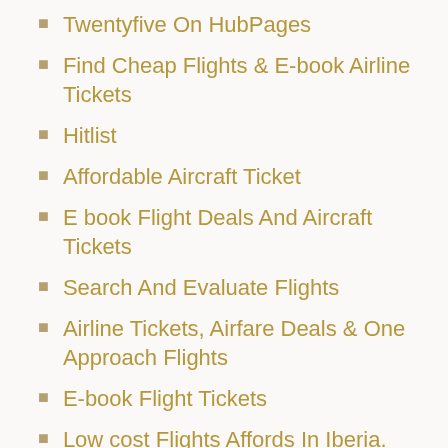Twentyfive On HubPages
Find Cheap Flights & E-book Airline Tickets
Hitlist
Affordable Aircraft Ticket
E book Flight Deals And Aircraft Tickets
Search And Evaluate Flights
Airline Tickets, Airfare Deals & One Approach Flights
E-book Flight Tickets
Low cost Flights Affords In Iberia. Spain On Iberia
Aircraft Tickets Are About To Get Cheaper, However Beware Of 'Basic Financial system'
Cheap Hong Kong Tour Packages Disneyland, Low cost Flight Tickets, Accommodations And More Promos